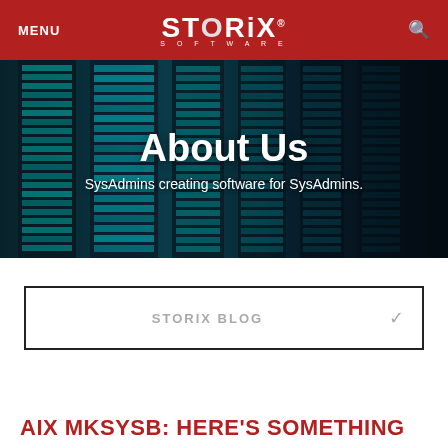MENU | STORIX SOFTWARE | Search
About Us
SysAdmins creating software for SysAdmins.
STORIX BLOG
AIX MKSYSB: HERE'S SOMETHING